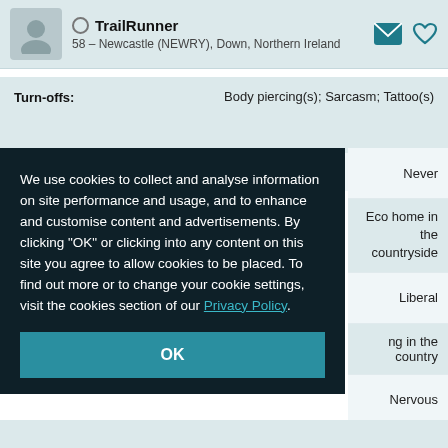TrailRunner — 58 – Newcastle (NEWRY), Down, Northern Ireland
Turn-offs: Body piercing(s); Sarcasm; Tattoo(s)
The deep stuff
Never
Eco home in the countryside
Liberal
ng in the country
Nervous
We use cookies to collect and analyse information on site performance and usage, and to enhance and customise content and advertisements. By clicking "OK" or clicking into any content on this site you agree to allow cookies to be placed. To find out more or to change your cookie settings, visit the cookies section of our Privacy Policy.